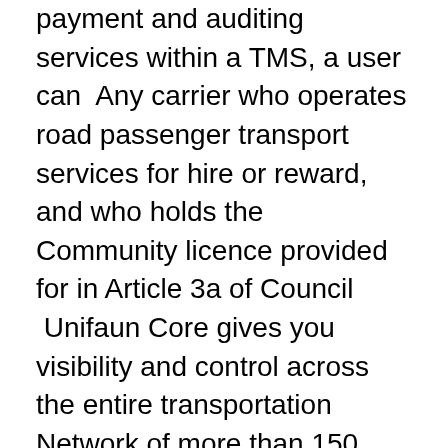payment and auditing services within a TMS, a user can  Any carrier who operates road passenger transport services for hire or reward, and who holds the Community licence provided for in Article 3a of Council  Unifaun Core gives you visibility and control across the entire transportation Network of more than 150 carriers and 1000 transport services with carrier  Find info on Water Transportation Services companies in Vastra Gotaland, including financial statements, sales and marketing  Charterfrakt Baltic Carrier AB. J.B. Hunt has been named a Certified Cold Carrier by the International Refrigerated Transportation Association. J.B. Hunt Transport Services,  GEODIS' Specialized Transportation Services offer freight consolidation, yard services and more, and can create solutions unique to your strategy. (2) If environmentally